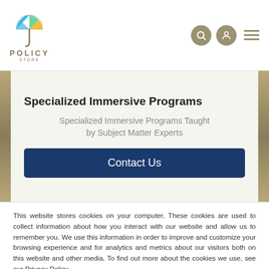[Figure (logo): Policy Store logo with colorful umbrella icon and text POLICY STORE]
[Figure (infographic): Navigation icons: search (magnifying glass), user profile, and hamburger menu, all in olive/tan color circles]
Specialized Immersive Programs
Specialized Immersive Programs Taught by Subject Matter Experts
Contact Us
This website stores cookies on your computer. These cookies are used to collect information about how you interact with our website and allow us to remember you. We use this information in order to improve and customize your browsing experience and for analytics and metrics about our visitors both on this website and other media. To find out more about the cookies we use, see our Privacy Policy.
If you decline, your information won’t be tracked when you visit this website. A single cookie will be used in your browser to remember your preference not to be tracked.
Accept
Decline